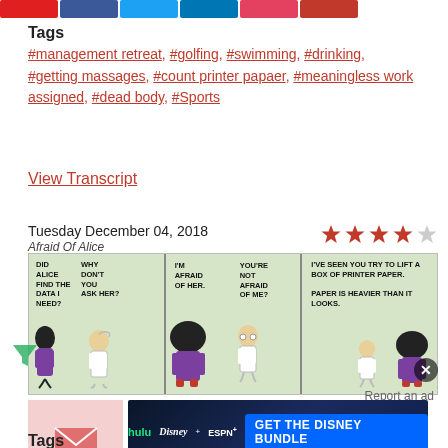[Figure (illustration): Social share buttons strip: red, blue, light blue, dark blue, pink, red buttons]
Tags
#management retreat, #golfing, #swimming, #drinking, #getting massages, #count printer papaer, #meaningless work assigned, #dead body, #Sports
View Transcript
Tuesday December 04, 2018
Afraid Of Alice
[Figure (illustration): Star rating: 4 out of 5 stars]
[Figure (illustration): Dilbert comic strip titled Afraid Of Alice. Panel 1: Did Alice find the data I need? Why don't you ask her? Panel 2: I'm afraid of her. You're not afraid of me? Panel 3: I've seen you try to lift a box of printer paper. Paper is heavier than it looks.]
Report an ad
[Figure (illustration): Disney Bundle advertisement: hulu Disney+ ESPN+ GET THE DISNEY BUNDLE. Incl. Hulu (ad-supported) or Hulu (No Ads). Access content from each service separately. ©2021 Disney and its related entities.]
Tags